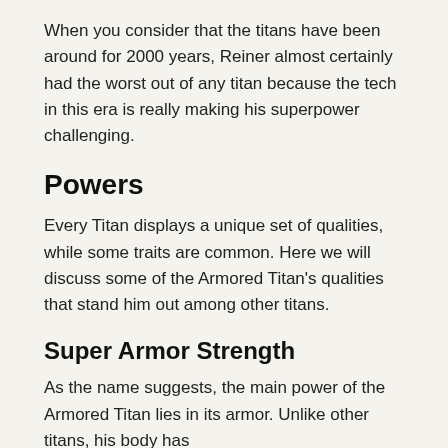When you consider that the titans have been around for 2000 years, Reiner almost certainly had the worst out of any titan because the tech in this era is really making his superpower challenging.
Powers
Every Titan displays a unique set of qualities, while some traits are common. Here we will discuss some of the Armored Titan's qualities that stand him out among other titans.
Super Armor Strength
As the name suggests, the main power of the Armored Titan lies in its armor. Unlike other titans, his body has